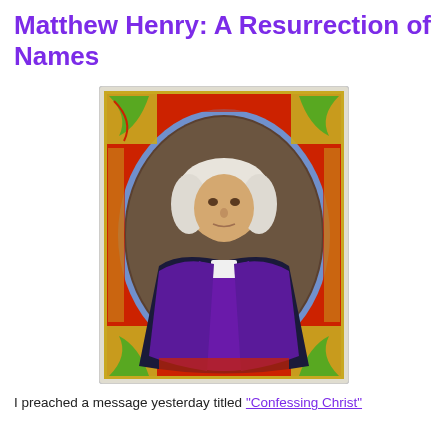Matthew Henry: A Resurrection of Names
[Figure (illustration): Portrait of Matthew Henry, a clergyman in dark robes with purple stole and white clerical collar, set within an oval frame with ornate illuminated manuscript-style border featuring red, gold, green and blue decorative motifs.]
I preached a message yesterday titled "Confessing Christ"